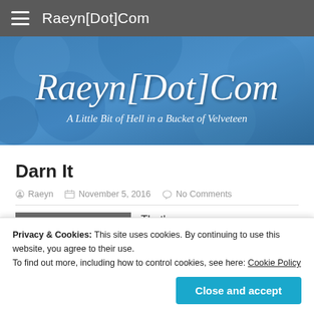Raeyn[Dot]Com
[Figure (illustration): Blue textured banner with cursive text 'Raeyn[Dot]Com' and subtitle 'A Little Bit of Hell in a Bucket of Velveteen']
Darn It
Raeyn  November 5, 2016  No Comments
That's...
Privacy & Cookies: This site uses cookies. By continuing to use this website, you agree to their use.
To find out more, including how to control cookies, see here: Cookie Policy
'creative'